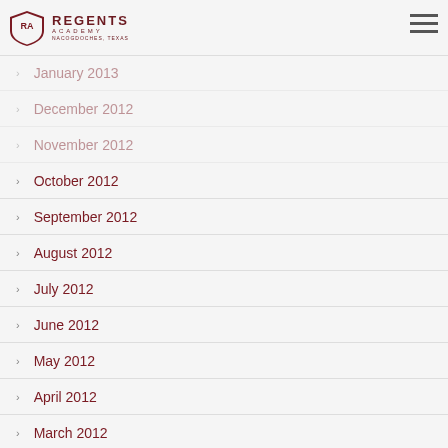Regents Academy
January 2013
December 2012
November 2012
October 2012
September 2012
August 2012
July 2012
June 2012
May 2012
April 2012
March 2012
February 2012
January 2012
December 2011
November 2011
October 2011
September 2011